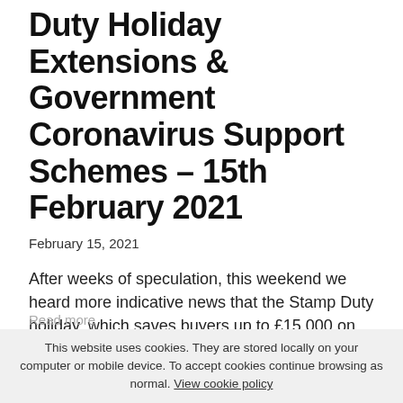Duty Holiday Extensions & Government Coronavirus Support Schemes - 15th February 2021
February 15, 2021
After weeks of speculation, this weekend we heard more indicative news that the Stamp Duty holiday, which saves buyers up to £15,000 on every UK property purchase, is likely to be extended for a further six weeks. Let's consider how this is likely to impact the property mar...
Read more
This website uses cookies. They are stored locally on your computer or mobile device. To accept cookies continue browsing as normal. View cookie policy